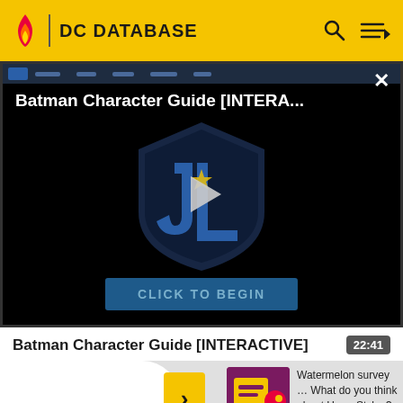DC DATABASE
[Figure (screenshot): Video player showing Batman Character Guide [INTERACTIVE] with a Justice League shield logo, play button, and 'CLICK TO BEGIN' button on a dark background]
Batman Character Guide [INTERACTIVE]
22:41
Watermelon survey … What do you think about Harry Styles? TAKE THE SURVEY HERE
MORE